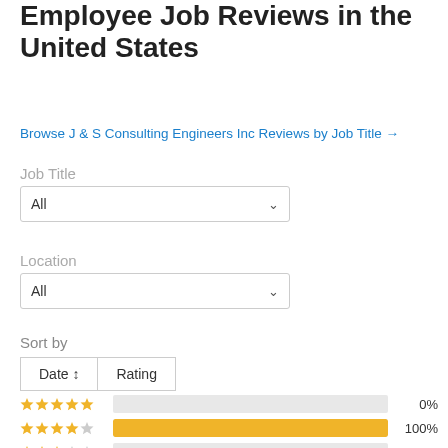Employee Job Reviews in the United States
Browse J & S Consulting Engineers Inc Reviews by Job Title →
Job Title
All
Location
All
Sort by
Date ↕   Rating
[Figure (bar-chart): Star rating distribution]